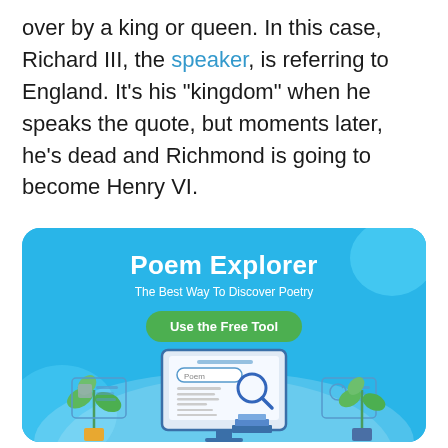over by a king or queen. In this case, Richard III, the speaker, is referring to England. It's his "kingdom" when he speaks the quote, but moments later, he's dead and Richmond is going to become Henry VI.
[Figure (illustration): Advertisement banner for 'Poem Explorer - The Best Way To Discover Poetry' with a green 'Use the Free Tool' button and an illustration of a computer monitor with a poem search interface, plants, and books on a blue background.]